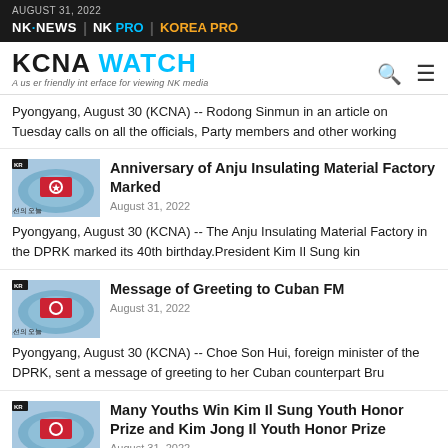AUGUST 31, 2022 | NK NEWS | NK PRO | KOREA PRO
KCNA WATCH — A user friendly interface for viewing NK media
Pyongyang, August 30 (KCNA) -- Rodong Sinmun in an article on Tuesday calls on all the officials, Party members and other working
[Figure (illustration): Thumbnail with North Korea flag over world map graphic, labeled KR and 조선의 오늘]
Anniversary of Anju Insulating Material Factory Marked
August 31, 2022
Pyongyang, August 30 (KCNA) -- The Anju Insulating Material Factory in the DPRK marked its 40th birthday. President Kim Il Sung kin
[Figure (illustration): Thumbnail with North Korea flag over world map graphic, labeled KR and 조선의 오늘]
Message of Greeting to Cuban FM
August 31, 2022
Pyongyang, August 30 (KCNA) -- Choe Son Hui, foreign minister of the DPRK, sent a message of greeting to her Cuban counterpart Bru
[Figure (illustration): Thumbnail with North Korea flag over world map graphic, labeled KR and 조선의 오늘]
Many Youths Win Kim Il Sung Youth Honor Prize and Kim Jong Il Youth Honor Prize
August 31, 2022